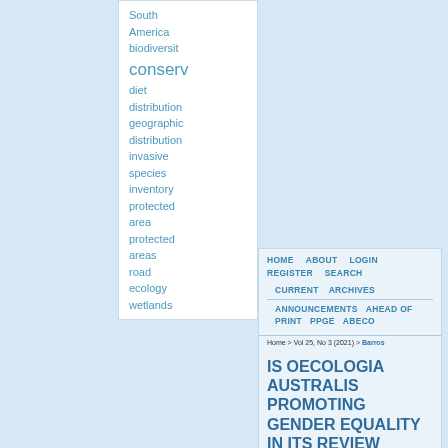South America biodiversity conservation diet distribution geographic distribution invasive species inventory protected area protected areas road ecology wetlands
HOME  ABOUT  LOGIN  REGISTER  SEARCH  CURRENT  ARCHIVES  ANNOUNCEMENTS  AHEAD OF PRINT  PPGE  ABECO
Home > Vol 25, No 3 (2021) > Barros
IS OECOLOGIA AUSTRALIS PROMOTING GENDER EQUALITY IN ITS REVIEW PROCESS?